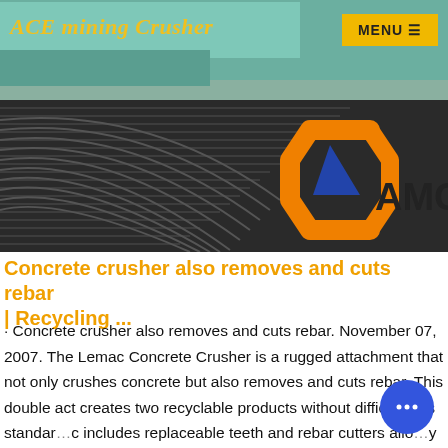ACE mining Crusher
[Figure (photo): Industrial mining crusher/screening equipment — green cylindrical pipes and metallic ridged conveyor/screen surface with AMC logo overlay (orange hexagonal bracket with blue triangle, text 'AMC')]
Concrete crusher also removes and cuts rebar | Recycling ...
· Concrete crusher also removes and cuts rebar. November 07, 2007. The Lemac Concrete Crusher is a rugged attachment that not only crushes concrete but also removes and cuts rebar. This double act creates two recyclable products without difficulty. As standard it includes replaceable teeth and rebar cutters allowing and affordable ...